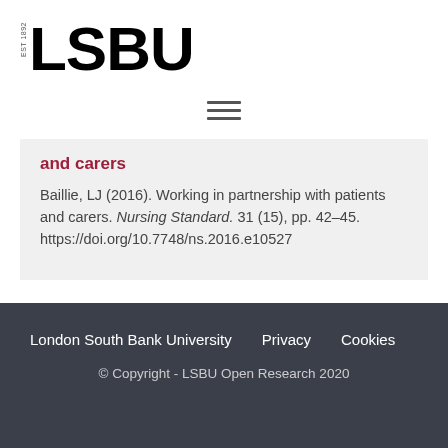[Figure (logo): LSBU logo with EST 1892 text and bold LSBU wordmark]
[Figure (other): Hamburger menu icon with three horizontal lines]
and carers
Baillie, LJ (2016). Working in partnership with patients and carers. Nursing Standard. 31 (15), pp. 42-45. https://doi.org/10.7748/ns.2016.e10527
London South Bank University   Privacy   Cookies
© Copyright - LSBU Open Research 2020